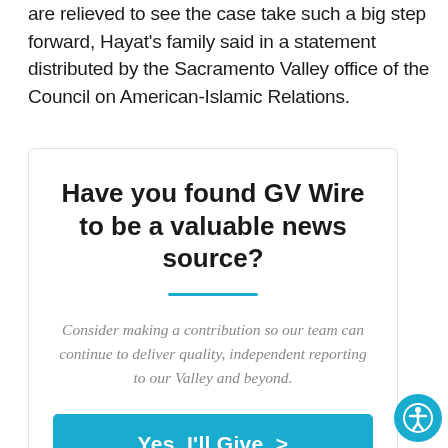are relieved to see the case take such a big step forward, Hayat's family said in a statement distributed by the Sacramento Valley office of the Council on American-Islamic Relations.
Have you found GV Wire to be a valuable news source?
Consider making a contribution so our team can continue to deliver quality, independent reporting to our Valley and beyond.
Yes, I'll Give >